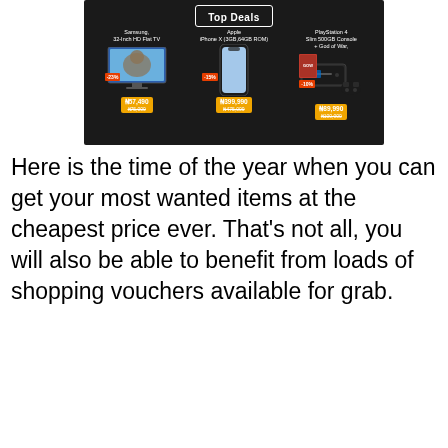[Figure (infographic): Black-background promotional banner titled 'Top Deals' showing three products: Samsung 32-Inch HD Flat TV at ₦57,490 (was ₦75,000, -23%), Apple iPhone X (3GB,64GB ROM) at ₦399,990 (was ₦475,000, -15%), and PlayStation 4 Slim 500GB Console + God of War at ₦89,990 (was ₦100,000, -10%)]
Here is the time of the year when you can get your most wanted items at the cheapest price ever. That's not all, you will also be able to benefit from loads of shopping vouchers available for grab.